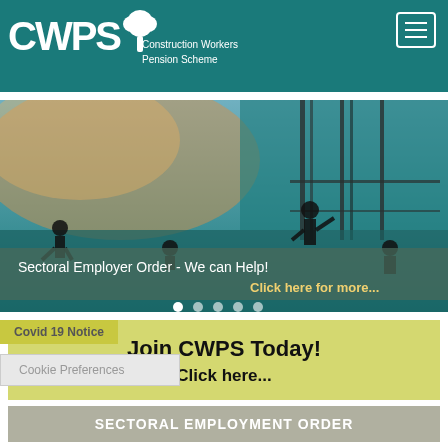[Figure (logo): CWPS Construction Workers Pension Scheme logo with white tree graphic on teal background, menu button top right]
[Figure (photo): Construction site silhouette photo showing workers on scaffolding against dramatic sky with teal overlay and text 'Sectoral Employer Order - We can Help! Click here for more...']
Covid 19 Notice
Join CWPS Today!
Click here...
Cookie Preferences
SECTORAL EMPLOYMENT ORDER